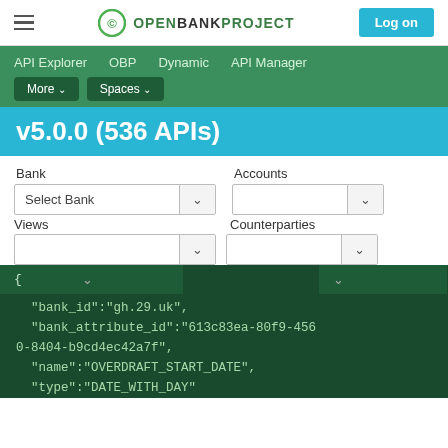OPENBANKPROJECT — Log on
API Explorer   OBP   Dynamic   API Manager
More ▾  Spaces ▾
v5.0.0 (536 APIs)
Bank   Accounts
Select Bank ∨   ∨
Views   Counterparties
[Figure (screenshot): JSON code panel showing: {
  "bank_id":"gh.29.uk",
  "bank_attribute_id":"613c83ea-80f9-4560-8404-b9cd4ec42a7f",
  "name":"OVERDRAFT_START_DATE",
  "type":"DATE_WITH_DAY"]